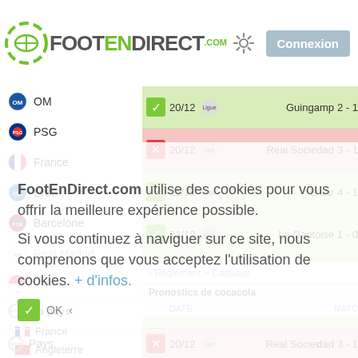FOOTENDIRECT.com — Connexion
OM — 20/12 — Guingamp 2 - 1
PSG — 20/12 — Real Sociedad 3 - 1
France — 21/12 — Eibar 4 - 1
Lyon — 21/12 — La Gantoise 1 - 0
Barcelone — 21/12 — Alavés 1 - 0
Real Madrid
Monaco
Top pays
France
Angleterre
Espagne
Italie
Allemagne
Pays
Règlement + Cadeaux
Pronostics de cocacola
DATE
MATC
21/12 — Alavés 1 - 0
21/12 — La Gantoise 1 - 0
21/12 — Eibar 4 - 1
20/12 — Real Sociedad 3 - 1
FootEnDirect.com utilise des cookies pour vous offrir la meilleure expérience possible. Si vous continuez à naviguer sur ce site, nous comprenons que vous acceptez l'utilisation de cookies. + d'infos.
OK